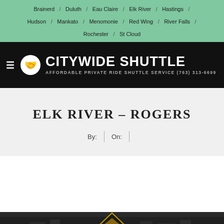Brainerd / Duluth / Eau Claire / Elk River / Hastings / Hudson / Mankato / Menomonie / Red Wing / River Falls / Rochester / St Cloud
[Figure (logo): Citywide Shuttle logo with handshake icon, tagline: AFFORDABLE PRIVATE RIDE SHUTTLE SERVICE (763) 313-6699]
ELK RIVER – ROGERS
By:   |   On:   |
[Figure (photo): Bottom banner showing www.ShuttleServiceMSP.com on the left and Email: Rides@ShuttleServiceMSP.com on the right, with city/building background image and a triangular roof graphic in the center]